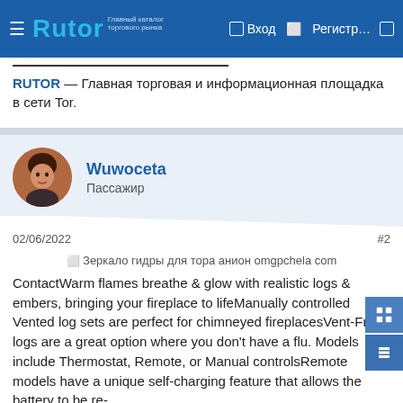Rutor — Вход — Регистр...
RUTOR — Главная торговая и информационная площадка в сети Tor.
Wuwoceta
Пассажир
02/06/2022	#2
[Figure (photo): Broken image placeholder: Зеркало гидры для тора анион omgpchela com]
ContactWarm flames breathe & glow with realistic logs & embers, bringing your fireplace to lifeManually controlled Vented log sets are perfect for chimneyed fireplacesVent-Free logs are a great option where you don't have a flu. Models include Thermostat, Remote, or Manual controlsRemote models have a unique self-charging feature that allows the battery to be re-